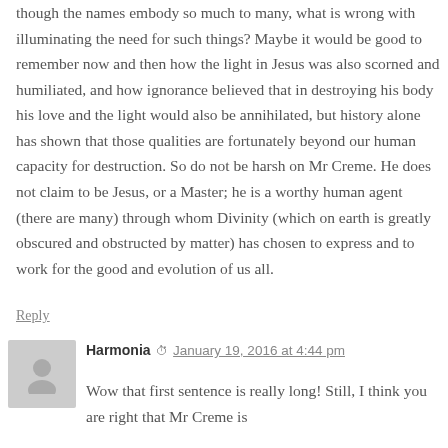though the names embody so much to many, what is wrong with illuminating the need for such things? Maybe it would be good to remember now and then how the light in Jesus was also scorned and humiliated, and how ignorance believed that in destroying his body his love and the light would also be annihilated, but history alone has shown that those qualities are fortunately beyond our human capacity for destruction. So do not be harsh on Mr Creme. He does not claim to be Jesus, or a Master; he is a worthy human agent (there are many) through whom Divinity (which on earth is greatly obscured and obstructed by matter) has chosen to express and to work for the good and evolution of us all.
Reply
Harmonia  January 19, 2016 at 4:44 pm
Wow that first sentence is really long! Still, I think you are right that Mr Creme is an idealist and truly hopes for the betterment of humanity.